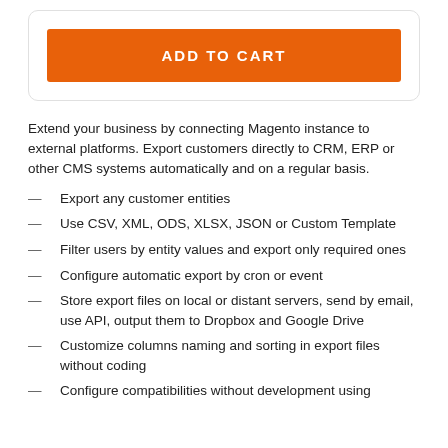[Figure (other): ADD TO CART button — orange rounded rectangle button with white bold uppercase text]
Extend your business by connecting Magento instance to external platforms. Export customers directly to CRM, ERP or other CMS systems automatically and on a regular basis.
Export any customer entities
Use CSV, XML, ODS, XLSX, JSON or Custom Template
Filter users by entity values and export only required ones
Configure automatic export by cron or event
Store export files on local or distant servers, send by email, use API, output them to Dropbox and Google Drive
Customize columns naming and sorting in export files without coding
Configure compatibilities without development using